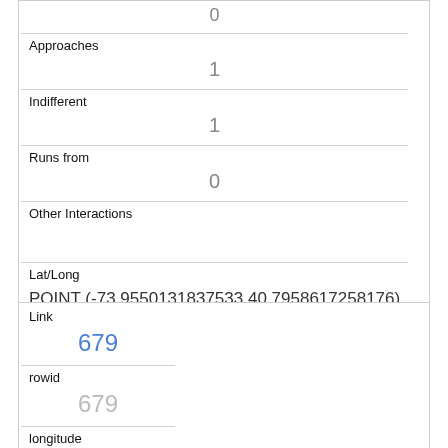| 0 |
| Approaches | 1 |
| Indifferent | 1 |
| Runs from | 0 |
| Other Interactions |  |
| Lat/Long | POINT (-73.9550131837533 40.7958617258176) |
| Link | 679 |
| rowid | 679 |
| longitude | -73.955018489069 |
| latitude | 40.7971235333699 |
| Unique Squirrel ID |  |